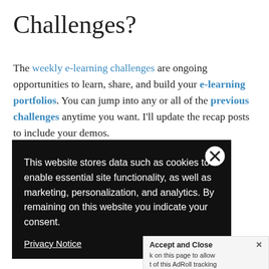Challenges?
The weekly e-learning challenges are ongoing opportunities to learn, share, and build your e-learning portfolios. You can jump into any or all of the previous challenges anytime you want. I'll update the recap posts to include your demos.
This website stores data such as cookies to enable essential site functionality, as well as marketing, personalization, and analytics. By remaining on this website you indicate your consent.
Privacy Notice
Accept and Close ×
k on this page to allow t of this AdRoll tracking
by clicking here. This message only appears once.